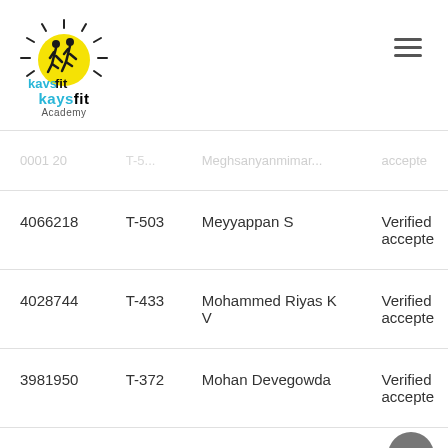[Figure (logo): Kaysfit Academy logo with yellow sun circle, two runner silhouettes, and brand name in cyan and black]
| ID | Code | Name | Status |
| --- | --- | --- | --- |
|  | T-5... | Meghsanyanmimar... | accepted |
| 4066218 | T-503 | Meyyappan S | Verified
accepted |
| 4028744 | T-433 | Mohammed Riyas K V | Verified
accepted |
| 3981950 | T-372 | Mohan Devegowda | Verified
accepted |
| 3753984 | T-256 | Mohan Kumar Parthasarathy | ified
pte |